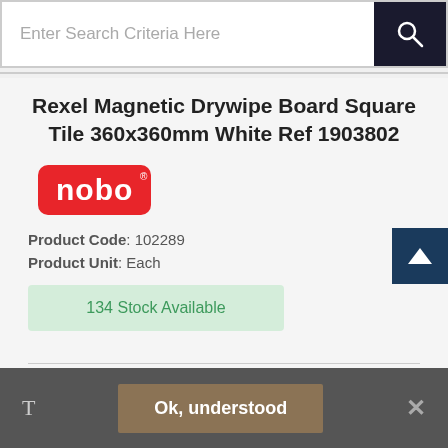Enter Search Criteria Here
Rexel Magnetic Drywipe Board Square Tile 360x360mm White Ref 1903802
[Figure (logo): nobo brand logo - red rounded rectangle with white 'nobo' text]
Product Code: 102289
Product Unit: Each
134 Stock Available
Quartet magnetic dry-erase board frameless square tile - 360x360mm.
T  Ok, understood  ×